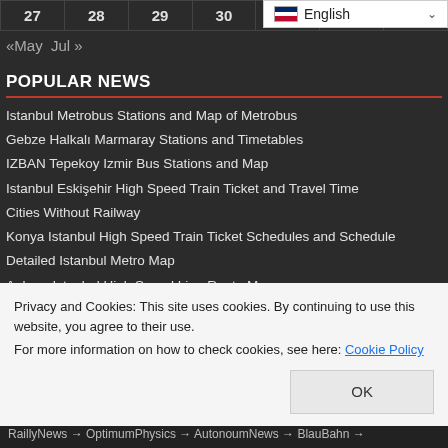| 27 | 28 | 29 | 30 |  |  |
«May   Jul »
POPULAR NEWS
Istanbul Metrobus Stations and Map of Metrobus
Gebze Halkalı Marmaray Stations and Timetables
IZBAN Tepekoy Izmir Bus Stations and Map
Istanbul Eskişehir High Speed Train Ticket and Travel Time
Cities Without Railway
Konya Istanbul High Speed Train Ticket Schedules and Schedule
Detailed Istanbul Metro Map
Ankara Istanbul High Speed Line Route Map
Privacy and Cookies: This site uses cookies. By continuing to use this website, you agree to their use.
For more information on how to check cookies, see here: Cookie Policy
RaillyNews → OptimumPhysics → AutonoumNews → BlauBahn →